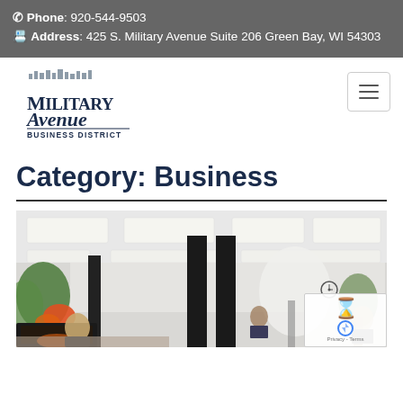Phone: 920-544-9503 | Address: 425 S. Military Avenue Suite 206 Green Bay, WI 54303
[Figure (logo): Military Avenue Business District logo with stylized building silhouette and blue/dark navy text]
Category: Business
[Figure (photo): Interior of a business/salon space with black columns, ceiling panel lights, plants, a fireplace, and people at reception]